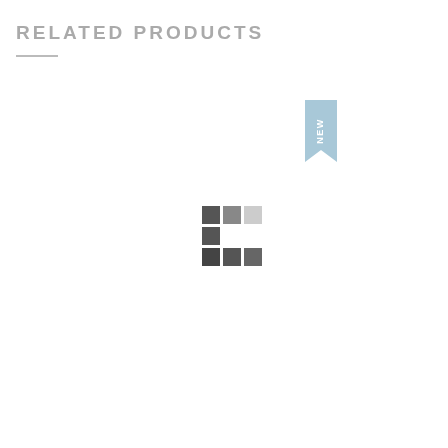RELATED PRODUCTS
[Figure (illustration): A teal/light blue ribbon banner with 'NEW' text written vertically in white, positioned in the upper right area of the product section.]
[Figure (infographic): A 3x3 grid of color swatches in various shades of gray and dark gray, with some cells empty. Top row: dark gray, medium gray, light gray. Middle row: dark gray only (left cell). Bottom row: dark gray, dark gray, dark gray.]